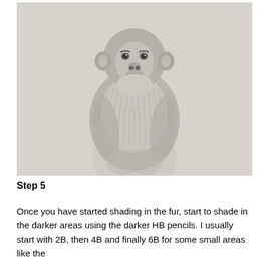[Figure (illustration): Pencil sketch illustration of a monkey (macaque) sitting upright, drawn with graphite pencils showing fur texture and shading. The monkey faces forward with a detailed face and fluffy chest fur. The lower body is more lightly sketched.]
Step 5
Once you have started shading in the fur, start to shade in the darker areas using the darker HB pencils. I usually start with 2B, then 4B and finally 6B for some small areas like the corners of the mouth, the eyes, and some areas around the ch...